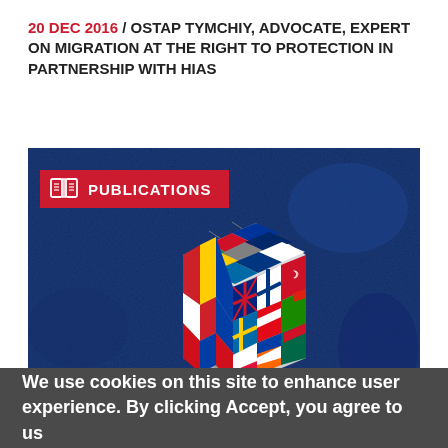20 DEC 2016 / OSTAP TYMCHIY, ADVOCATE, EXPERT ON MIGRATION AT THE RIGHT TO PROTECTION IN PARTNERSHIP WITH HIAS
[Figure (illustration): Dark blue textured background with a red banner reading 'PUBLICATIONS' with a book icon, and a 3D Rubik's cube made of European/world country flags in the center]
We use cookies on this site to enhance user experience. By clicking Accept, you agree to us